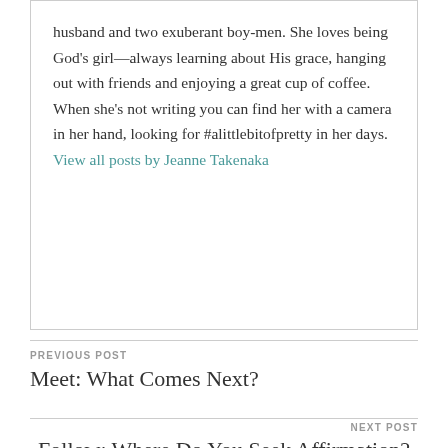husband and two exuberant boy-men. She loves being God's girl—always learning about His grace, hanging out with friends and enjoying a great cup of coffee. When she's not writing you can find her with a camera in her hand, looking for #alittlebitofpretty in her days. View all posts by Jeanne Takenaka
PREVIOUS POST
Meet: What Comes Next?
NEXT POST
Follow: Where Do You Seek Affirmation?